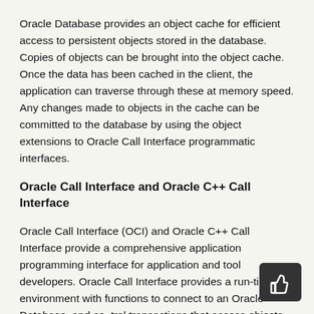Oracle Database provides an object cache for efficient access to persistent objects stored in the database. Copies of objects can be brought into the object cache. Once the data has been cached in the client, the application can traverse through these at memory speed. Any changes made to objects in the cache can be committed to the database by using the object extensions to Oracle Call Interface programmatic interfaces.
Oracle Call Interface and Oracle C++ Call Interface
Oracle Call Interface (OCI) and Oracle C++ Call Interface provide a comprehensive application programming interface for application and tool developers. Oracle Call Interface provides a run-time environment with functions to connect to an Oracle Database, and control transactions that access objects in the database. It